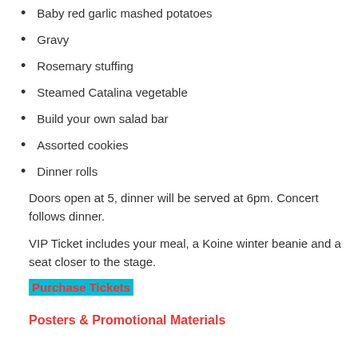Baby red garlic mashed potatoes
Gravy
Rosemary stuffing
Steamed Catalina vegetable
Build your own salad bar
Assorted cookies
Dinner rolls
Doors open at 5, dinner will be served at 6pm. Concert follows dinner.
VIP Ticket includes your meal, a Koine winter beanie and a seat closer to the stage.
Purchase Tickets
Posters & Promotional Materials